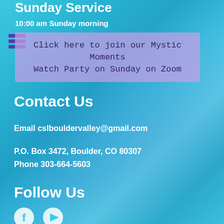Sunday Service
10:00 am Sunday morning
Click here to join our Mystic Moments Watch Party on Sunday on Zoom
Contact Us
Email cslbouldervalley@gmail.com
P.O. Box 3472, Boulder, CO 80307
Phone 303-664-5603
Follow Us
[Figure (illustration): Social media icons (Facebook and another platform) in white circles at the bottom of the page]